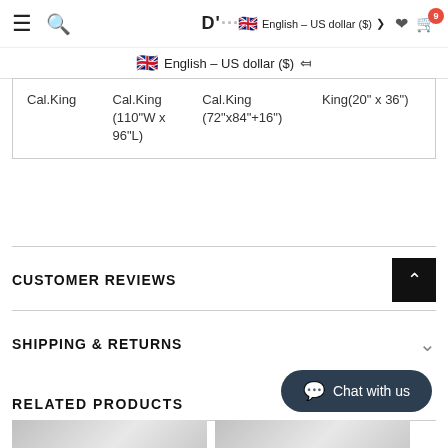≡  🔍  D[logo]  English – US dollar ($) ∨  🤍  🛒 (9)
| Cal.King | Cal.King (110"W x 96"L) | Cal.King (72"x84"+16") | King(20" x 36") |
CUSTOMER REVIEWS
SHIPPING & RETURNS
RELATED PRODUCTS